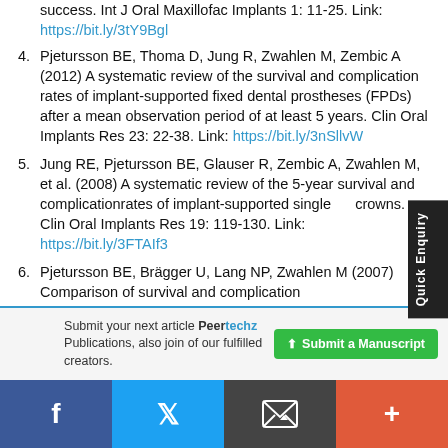success. Int J Oral Maxillofac Implants 1: 11-25. Link: https://bit.ly/3tY9Bgl
4. Pjetursson BE, Thoma D, Jung R, Zwahlen M, Zembic A (2012) A systematic review of the survival and complication rates of implant-supported fixed dental prostheses (FPDs) after a mean observation period of at least 5 years. Clin Oral Implants Res 23: 22-38. Link: https://bit.ly/3nSllvW
5. Jung RE, Pjetursson BE, Glauser R, Zembic A, Zwahlen M, et al. (2008) A systematic review of the 5-year survival and complicationrates of implant-supported single crowns. Clin Oral Implants Res 19: 119-130. Link: https://bit.ly/3FTAIf3
6. Pjetursson BE, Brägger U, Lang NP, Zwahlen M (2007) Comparison of survival and complication
Submit your next article Peertechz Publications, also join of our fulfilled creators.
Submit a Manuscript